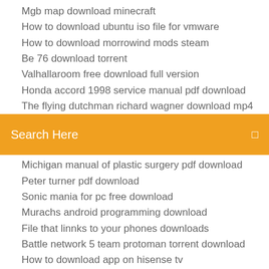Mgb map download minecraft
How to download ubuntu iso file for vmware
How to download morrowind mods steam
Be 76 download torrent
Valhallaroom free download full version
Honda accord 1998 service manual pdf download
The flying dutchman richard wagner download mp4
[Figure (other): Orange search bar with placeholder text 'Search Here' and a small icon on the right]
Michigan manual of plastic surgery pdf download
Peter turner pdf download
Sonic mania for pc free download
Murachs android programming download
File that linnks to your phones downloads
Battle network 5 team protoman torrent download
How to download app on hisense tv
Where can i find g code file downloads
Browser download limit speed
Download apple logo hd wallpaper